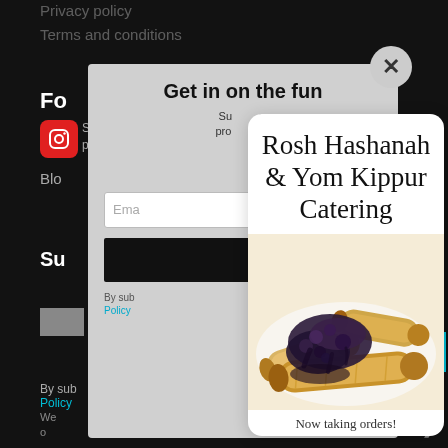Privacy policy
Terms and conditions
[Figure (screenshot): Website footer/sidebar background with dark theme showing partial text: 'Fo', Instagram icon, 'Blo', email input, subscribe button, 'Su', 'By sub', 'Policy', partial text fragments, and navigation arrow. A modal overlay is present.]
Rosh Hashanah & Yom Kippur Catering
[Figure (photo): Photo of food items that appear to be blintzes or crepes filled and topped with dark blueberry compote/sauce, arranged on a white plate]
Now taking orders!